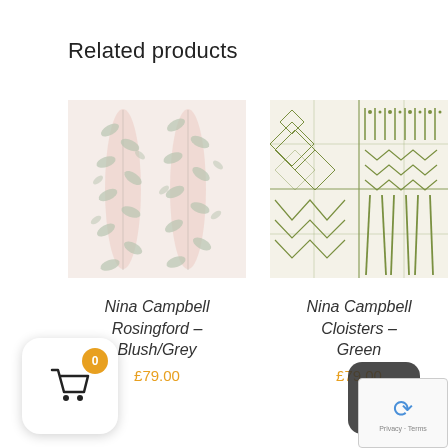Related products
[Figure (photo): Wallpaper swatch showing a soft floral/leaf pattern in blush pink and grey on white background – Nina Campbell Rosingford Blush/Grey]
Nina Campbell Rosingford – Blush/Grey
£79.00
[Figure (photo): Wallpaper swatch showing a geometric tribal/ethnic pattern in green on white background – Nina Campbell Cloisters Green]
Nina Campbell Cloisters – Green
£79.00